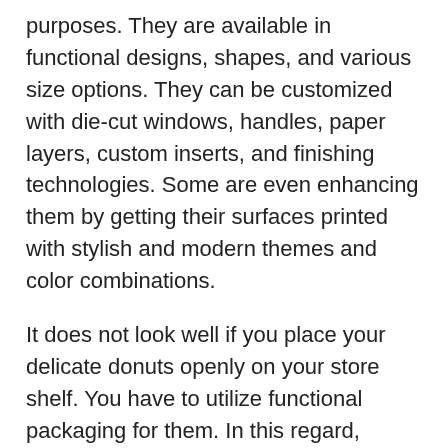purposes. They are available in functional designs, shapes, and various size options. They can be customized with die-cut windows, handles, paper layers, custom inserts, and finishing technologies. Some are even enhancing them by getting their surfaces printed with stylish and modern themes and color combinations.
It does not look well if you place your delicate donuts openly on your store shelf. You have to utilize functional packaging for them. In this regard, custom donut boxes are solutions that are remarkable in presenting your products and promoting your brand. They have unique features and capabilities that can provide many advantages to brands and bring diversity in product displays. It is easy to customize them because of their flexible properties. There are various methods and options available in the packaging markets to customize them. Some of the reliable ones are mentioned in the following section.